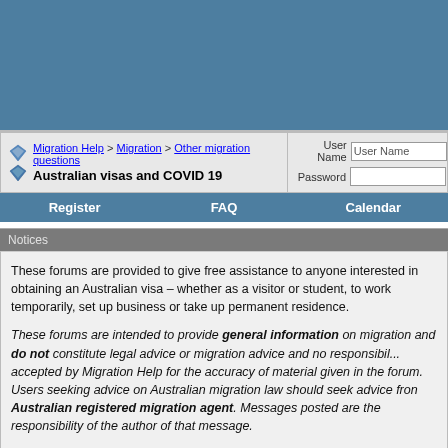[Figure (other): Blue banner header area for Migration Help forum]
Migration Help > Migration > Other migration questions | Australian visas and COVID 19 | User Name | Password | Remember | Log in
Register | FAQ | Calendar
Notices
These forums are provided to give free assistance to anyone interested in obtaining an Australian visa – whether as a visitor or student, to work temporarily, set up business or take up permanent residence.
These forums are intended to provide general information on migration and do not constitute legal advice or migration advice and no responsibility is accepted by Migration Help for the accuracy of material given in the forum. Users seeking advice on Australian migration law should seek advice from an Australian registered migration agent. Messages posted are the responsibility of the author of that message.